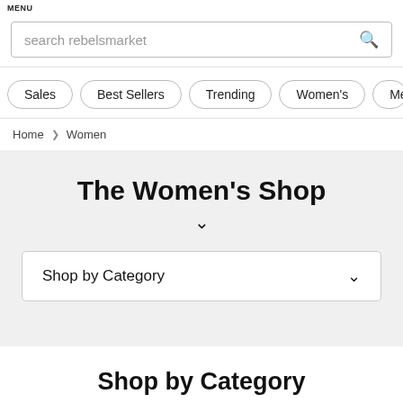MENU
search rebelsmarket
Sales
Best Sellers
Trending
Women's
Men's
Home > Women
The Women's Shop
Shop by Category
Shop by Category